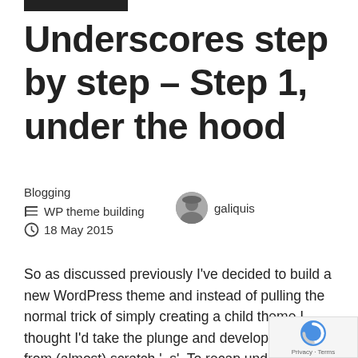Underscores step by step – Step 1, under the hood
Blogging
WP theme building
18 May 2015
galiquis
So as discussed previously I've decided to build a new WordPress theme and instead of pulling the normal trick of simply creating a child theme I thought I'd take the plunge and develop my own from (almost) scratch '_s'. To recap underscores (_s) is a popular starter maintained by Automattic (yeah the WordPress.com...